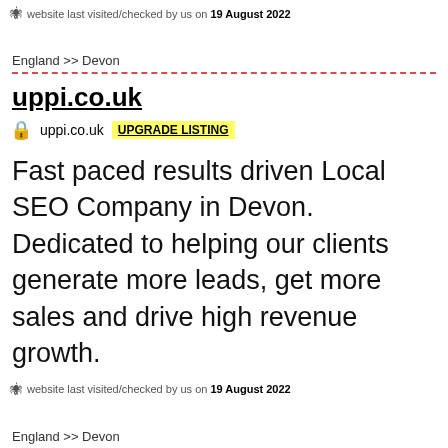website last visited/checked by us on 19 August 2022
England >> Devon
uppi.co.uk
uppi.co.uk  UPGRADE LISTING
Fast paced results driven Local SEO Company in Devon. Dedicated to helping our clients generate more leads, get more sales and drive high revenue growth.
website last visited/checked by us on 19 August 2022
England >> Devon
anthare.co.uk